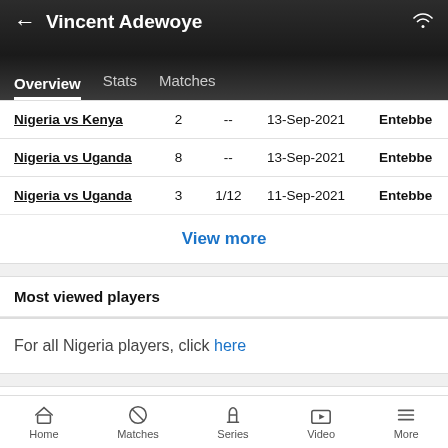Vincent Adewoye
Overview  Stats  Matches
| Match | No. | Score | Date | Venue |
| --- | --- | --- | --- | --- |
| Nigeria vs Kenya | 2 | -- | 13-Sep-2021 | Entebbe |
| Nigeria vs Uganda | 8 | -- | 13-Sep-2021 | Entebbe |
| Nigeria vs Uganda | 3 | 1/12 | 11-Sep-2021 | Entebbe |
View more
Most viewed players
For all Nigeria players, click here
MORE LINKS
Home  Matches  Series  Video  More